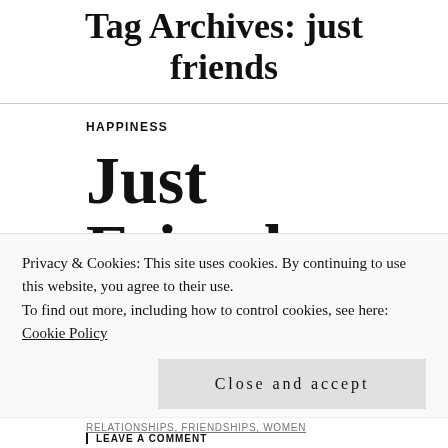Tag Archives: just friends
HAPPINESS
Just Friends
Privacy & Cookies: This site uses cookies. By continuing to use this website, you agree to their use.
To find out more, including how to control cookies, see here: Cookie Policy
Close and accept
LEAVE A COMMENT